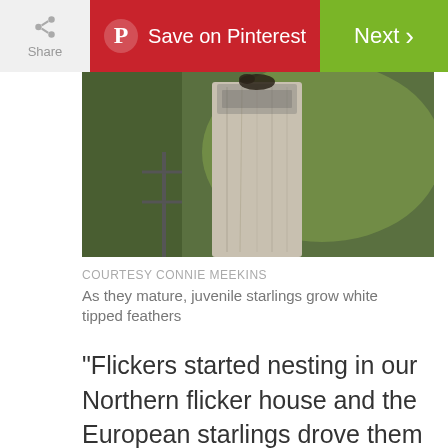[Figure (screenshot): Top navigation bar with Share button, Save on Pinterest button (red), and Next button (green)]
[Figure (photo): Photo of a weathered wooden post/stump against a green blurred background, with bird visible at top]
COURTESY CONNIE MEEKINS
As they mature, juvenile starlings grow white tipped feathers
“Flickers started nesting in our Northern flicker house and the European starlings drove them away. The first year it happened, the starlings were successful hatching young, but an eastern chipmunk entered the house and killed the whole brood. In recent years, the starlings have really been driving the woodpeckers away. European starlings